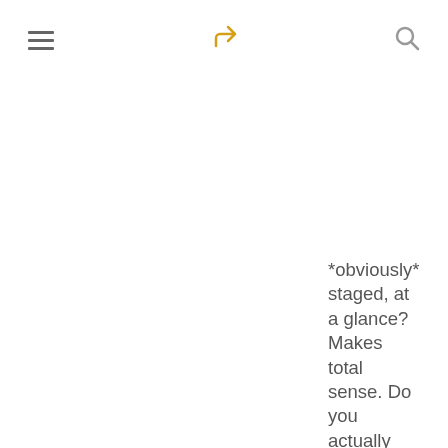[hamburger menu] [share icon] [search icon]
*obviously* staged, at a glance? Makes total sense. Do you actually believe what you're saying? Giving flat-earthers a run for their money if you do!